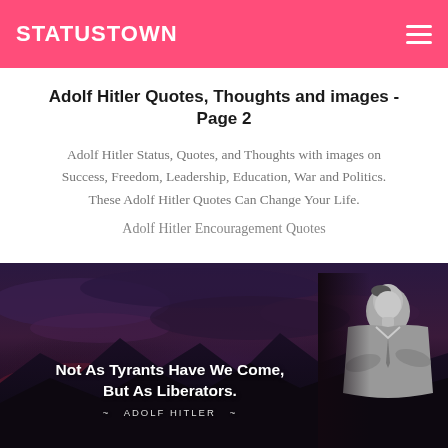STATUSTOWN
Adolf Hitler Quotes, Thoughts and images - Page 2
Adolf Hitler Status, Quotes, and Thoughts with images on Success, Freedom, Leadership, Education, War and Politics. These Adolf Hitler Quotes Can Change Your Life.
Adolf Hitler Encouragement Quotes
[Figure (photo): Quote image with dark mountainous twilight sky background and a greyscale photo of Adolf Hitler on the right side. White bold text reads: 'Not As Tyrants Have We Come, But As Liberators.' with attribution '~ ADOLF HITLER ~' below.]